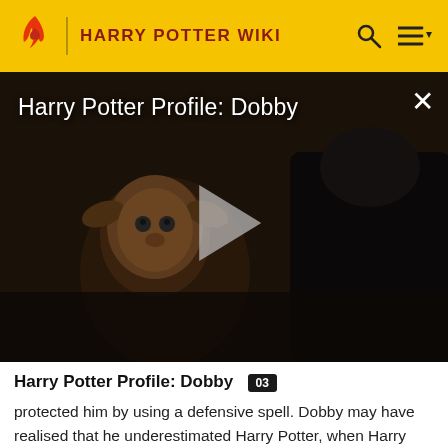HARRY POTTER WIKI
[Figure (screenshot): Dark video thumbnail showing Dobby the house elf with a play button overlay. Title reads 'Harry Potter Profile: Dobby' with a close (X) button in the top right.]
Harry Potter Profile: Dobby
protected him by using a defensive spell. Dobby may have realised that he underestimated Harry Potter, when Harry managed to stop Lucius's plot and survive the